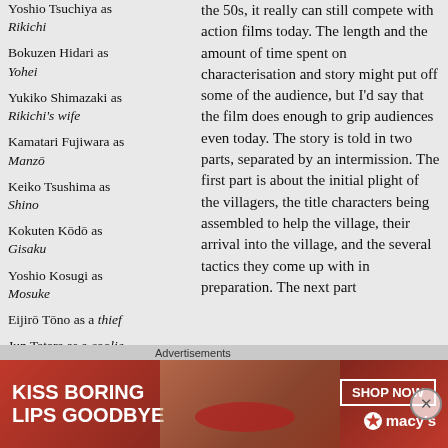Yoshio Tsuchiya as Rikichi
Bokuzen Hidari as Yohei
Yukiko Shimazaki as Rikichi's wife
Kamatari Fujiwara as Manzō
Keiko Tsushima as Shino
Kokuten Kōdō as Gisaku
Yoshio Kosugi as Mosuke
Eijirō Tōno as a thief
Jun Tatara as a coolie
the 50s, it really can still compete with action films today. The length and the amount of time spent on characterisation and story might put off some of the audience, but I'd say that the film does enough to grip audiences even today. The story is told in two parts, separated by an intermission. The first part is about the initial plight of the villagers, the title characters being assembled to help the village, their arrival into the village, and the several tactics they come up with in preparation. The next part
Advertisements
[Figure (photo): Macy's advertisement banner: KISS BORING LIPS GOODBYE with SHOP NOW button and macys star logo]